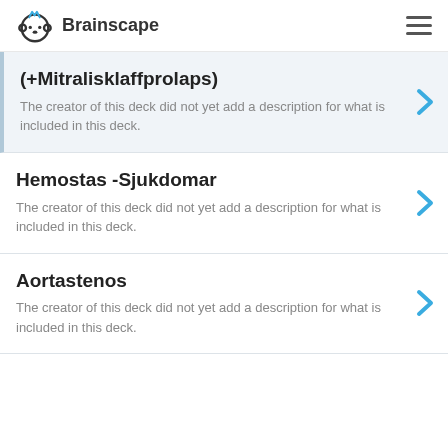Brainscape
(+Mitralisklaffprolaps)
The creator of this deck did not yet add a description for what is included in this deck.
Hemostas -Sjukdomar
The creator of this deck did not yet add a description for what is included in this deck.
Aortastenos
The creator of this deck did not yet add a description for what is included in this deck.